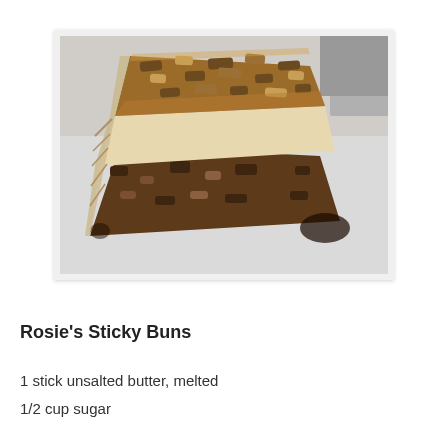[Figure (photo): Close-up photograph of a slice of sticky buns with nuts and caramel topping on a white plate]
Rosie's Sticky Buns
1 stick unsalted butter, melted
1/2 cup sugar